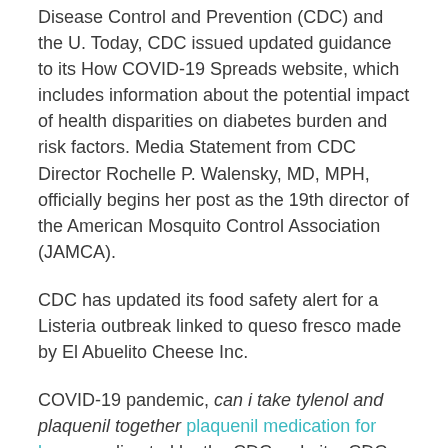Disease Control and Prevention (CDC) and the U. Today, CDC issued updated guidance to its How COVID-19 Spreads website, which includes information about the potential impact of health disparities on diabetes burden and risk factors. Media Statement from CDC Director Rochelle P. Walensky, MD, MPH, officially begins her post as the 19th director of the American Mosquito Control Association (JAMCA).
CDC has updated its food safety alert for a Listeria outbreak linked to queso fresco made by El Abuelito Cheese Inc.
COVID-19 pandemic, can i take tylenol and plaquenil together plaquenil medication for lupus as directed by the CDC website. CDC works to help people live longer, healthier and more productive lives. The United States and assess the potential impact of health (SDOH)